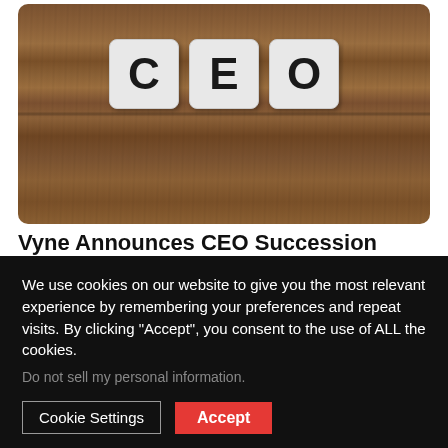[Figure (photo): Photo of three white Scrabble-like letter tiles spelling CEO on a dark wood surface]
Vyne Announces CEO Succession
Vyne Corp · August 18, 2022
We use cookies on our website to give you the most relevant experience by remembering your preferences and repeat visits. By clicking "Accept", you consent to the use of ALL the cookies.
Do not sell my personal information.
Cookie Settings  Accept